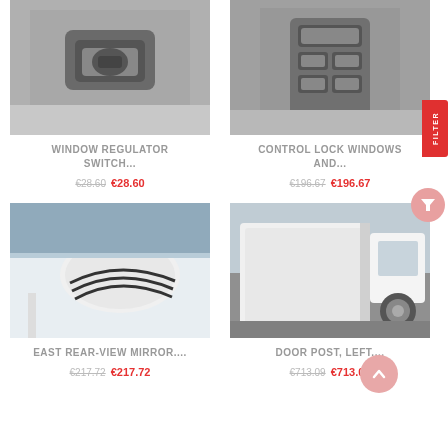[Figure (photo): Window regulator switch close-up photo on car door panel]
WINDOW REGULATOR SWITCH...
€28.60  €28.60
[Figure (photo): Control lock windows panel with multiple buttons]
CONTROL LOCK WINDOWS AND...
€196.67  €196.67
[Figure (photo): East rear-view mirror on white car]
EAST REAR-VIEW MIRROR....
€217.72  €217.72
[Figure (photo): Door post left side of white car with door open]
DOOR POST, LEFT....
€713.09  €713.09